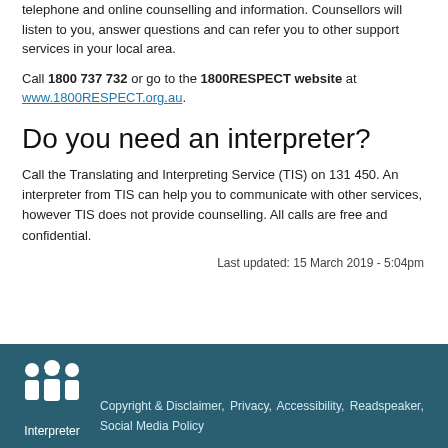telephone and online counselling and information. Counsellors will listen to you, answer questions and can refer you to other support services in your local area.
Call 1800 737 732 or go to the 1800RESPECT website at www.1800RESPECT.org.au.
Do you need an interpreter?
Call the Translating and Interpreting Service (TIS) on 131 450. An interpreter from TIS can help you to communicate with other services, however TIS does not provide counselling. All calls are free and confidential.
Last updated: 15 March 2019 - 5:04pm
Interpreter  Copyright & Disclaimer,  Privacy,  Accessibility,  Readspeaker,  Social Media Policy